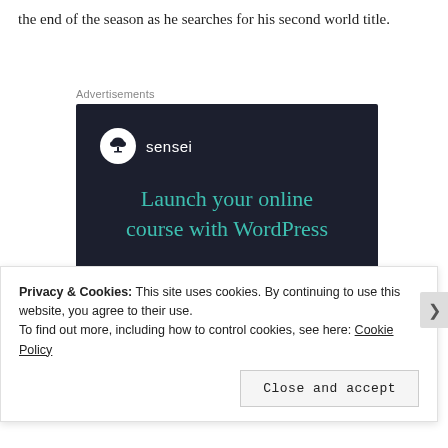the end of the season as he searches for his second world title.
Advertisements
[Figure (illustration): Sensei advertisement banner with dark navy background. Shows Sensei logo (tree icon in circle) and text 'Launch your online course with WordPress' in teal, with a teal 'Learn More' button.]
Privacy & Cookies: This site uses cookies. By continuing to use this website, you agree to their use.
To find out more, including how to control cookies, see here: Cookie Policy
Close and accept